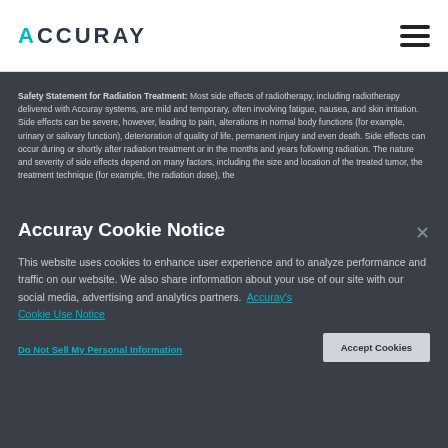[Figure (logo): Accuray logo with teal accent on the letter A, followed by CCURAY in dark text, with hamburger menu icon on the right]
Safety Statement for Radiation Treatment: Most side effects of radiotherapy, including radiotherapy delivered with Accuray systems, are mild and temporary, often involving fatigue, nausea, and skin irritation. Side effects can be severe, however, leading to pain, alterations in normal body functions (for example, urinary or salivary function), deterioration of quality of life, permanent injury and even death. Side effects can occur during or shortly after radiation treatment or in the months and years following radiation. The nature and severity of side effects depend on many factors, including the size and location of the treated tumor, the treatment technique (for example, the radiation dose), the
Accuray Cookie Notice
This website uses cookies to enhance user experience and to analyze performance and traffic on our website. We also share information about your use of our site with our social media, advertising and analytics partners. Accuray's Cookie Use Notice
Do Not Sell My Personal Information
Accept Cookies